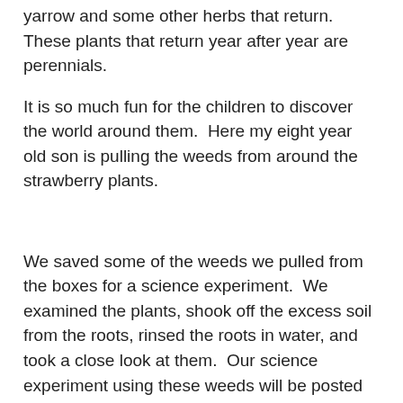yarrow and some other herbs that return. These plants that return year after year are perennials.
It is so much fun for the children to discover the world around them.  Here my eight year old son is pulling the weeds from around the strawberry plants.
We saved some of the weeds we pulled from the boxes for a science experiment.  We examined the plants, shook off the excess soil from the roots, rinsed the roots in water, and took a close look at them.  Our science experiment using these weeds will be posted